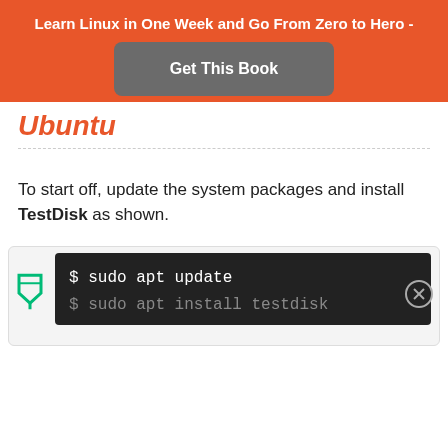Learn Linux in One Week and Go From Zero to Hero -
Get This Book
Ubuntu
To start off, update the system packages and install TestDisk as shown.
[Figure (screenshot): Terminal code block showing: $ sudo apt update and $ sudo apt install testdisk on dark background]